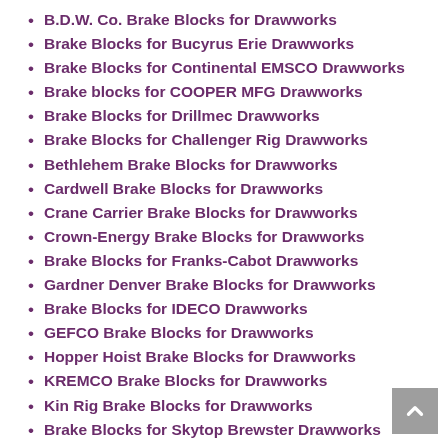B.D.W. Co. Brake Blocks for Drawworks
Brake Blocks for Bucyrus Erie Drawworks
Brake Blocks for Continental EMSCO Drawworks
Brake blocks for COOPER MFG Drawworks
Brake Blocks for Drillmec Drawworks
Brake Blocks for Challenger Rig Drawworks
Bethlehem Brake Blocks for Drawworks
Cardwell Brake Blocks for Drawworks
Crane Carrier Brake Blocks for Drawworks
Crown-Energy Brake Blocks for Drawworks
Brake Blocks for Franks-Cabot Drawworks
Gardner Denver Brake Blocks for Drawworks
Brake Blocks for IDECO Drawworks
GEFCO Brake Blocks for Drawworks
Hopper Hoist Brake Blocks for Drawworks
KREMCO Brake Blocks for Drawworks
Kin Rig Brake Blocks for Drawworks
Brake Blocks for Skytop Brewster Drawworks
MESA MFG. CO Brake Blocks for Drawworks
Lee Engineering Brake Blocks for Drawworks